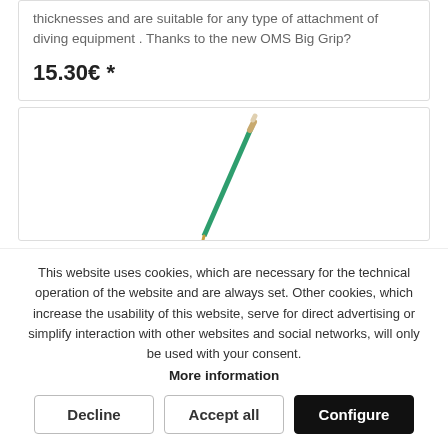thicknesses and are suitable for any type of attachment of diving equipment . Thanks to the new OMS Big Grip?
15.30€ *
[Figure (photo): A green diving pointer/stick (thin rod) shown diagonally against a white background]
This website uses cookies, which are necessary for the technical operation of the website and are always set. Other cookies, which increase the usability of this website, serve for direct advertising or simplify interaction with other websites and social networks, will only be used with your consent.
More information
Decline
Accept all
Configure